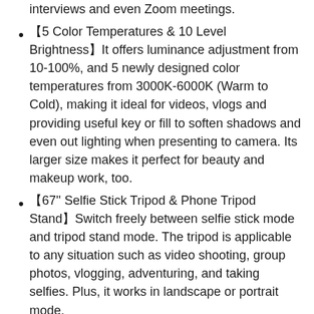interviews and even Zoom meetings.
【5 Color Temperatures & 10 Level Brightness】It offers luminance adjustment from 10-100%, and 5 newly designed color temperatures from 3000K-6000K (Warm to Cold), making it ideal for videos, vlogs and providing useful key or fill to soften shadows and even out lighting when presenting to camera. Its larger size makes it perfect for beauty and makeup work, too.
【67'' Selfie Stick Tripod & Phone Tripod Stand】Switch freely between selfie stick mode and tripod stand mode. The tripod is applicable to any situation such as video shooting, group photos, vlogging, adventuring, and taking selfies. Plus, it works in landscape or portrait mode.
【Multiple Shooting Angles & High